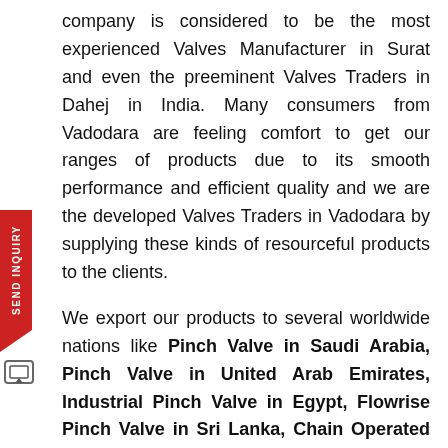company is considered to be the most experienced Valves Manufacturer in Surat and even the preeminent Valves Traders in Dahej in India. Many consumers from Vadodara are feeling comfort to get our ranges of products due to its smooth performance and efficient quality and we are the developed Valves Traders in Vadodara by supplying these kinds of resourceful products to the clients.
We export our products to several worldwide nations like Pinch Valve in Saudi Arabia, Pinch Valve in United Arab Emirates, Industrial Pinch Valve in Egypt, Flowrise Pinch Valve in Sri Lanka, Chain Operated Pinch Valve in Turkey, Close Body Pinch Valve in Australia, Open Body Pinch Valve in USA, Gear Operated Pinch Valve in Zambia, Spare Pinch Valve Sleeve in Indonesia, Pinch